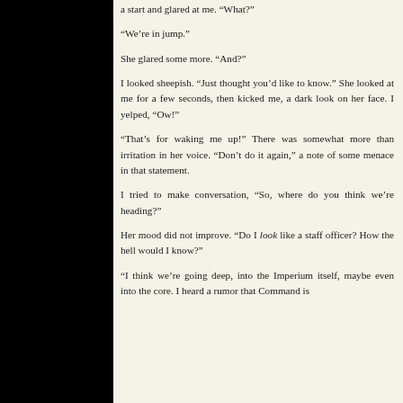a start and glared at me. “What?”
“We’re in jump.”
She glared some more. “And?”
I looked sheepish. “Just thought you’d like to know.” She looked at me for a few seconds, then kicked me, a dark look on her face. I yelped, “Ow!”
“That’s for waking me up!” There was somewhat more than irritation in her voice. “Don’t do it again,” a note of some menace in that statement.
I tried to make conversation, “So, where do you think we’re heading?”
Her mood did not improve. “Do I look like a staff officer? How the hell would I know?”
“I think we’re going deep, into the Imperium itself, maybe even into the core. I heard a rumor that Command is